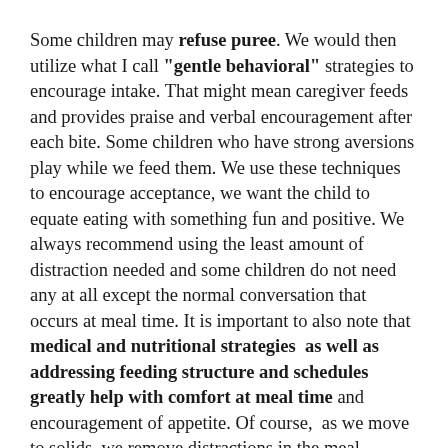Some children may refuse puree. We would then utilize what I call "gentle behavioral" strategies to encourage intake. That might mean caregiver feeds and provides praise and verbal encouragement after each bite. Some children who have strong aversions play while we feed them. We use these techniques to encourage acceptance, we want the child to equate eating with something fun and positive. We always recommend using the least amount of distraction needed and some children do not need any at all except the normal conversation that occurs at meal time. It is important to also note that medical and nutritional strategies  as well as addressing feeding structure and schedules greatly help with comfort at meal time and encouragement of appetite. Of course,  as we move to solids, we remove distractions in the meal.
For children with food refusal and limited acceptance,